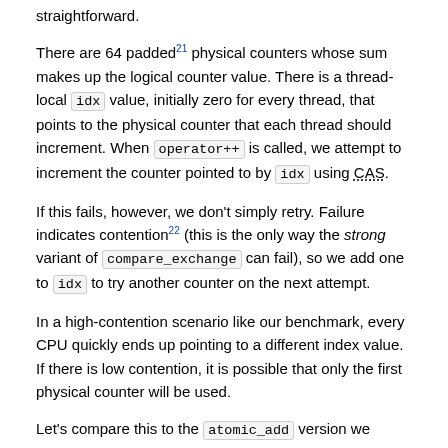straightforward.
There are 64 padded21 physical counters whose sum makes up the logical counter value. There is a thread-local idx value, initially zero for every thread, that points to the physical counter that each thread should increment. When operator++ is called, we attempt to increment the counter pointed to by idx using CAS.
If this fails, however, we don't simply retry. Failure indicates contention22 (this is the only way the strong variant of compare_exchange can fail), so we add one to idx to try another counter on the next attempt.
In a high-contention scenario like our benchmark, every CPU quickly ends up pointing to a different index value. If there is low contention, it is possible that only the first physical counter will be used.
Let's compare this to the atomic_add version we looked